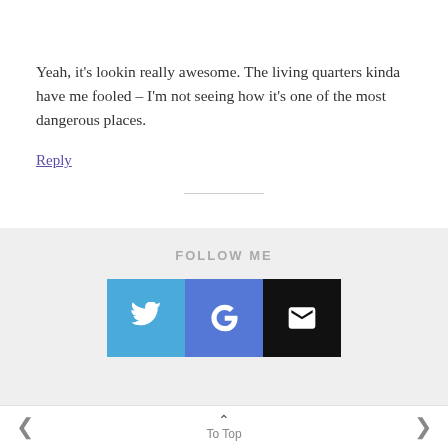[Figure (illustration): Round avatar icon with purple and orange pixel/cross design on dark background, partially cropped at top]
Yeah, it's lookin really awesome. The living quarters kinda have me fooled – I'm not seeing how it's one of the most dangerous places.
Reply
FOLLOW ME
[Figure (infographic): Three social media buttons: Twitter (blue bird icon), Google+ (blue G+ icon), Email (black envelope icon)]
< ^ To Top >